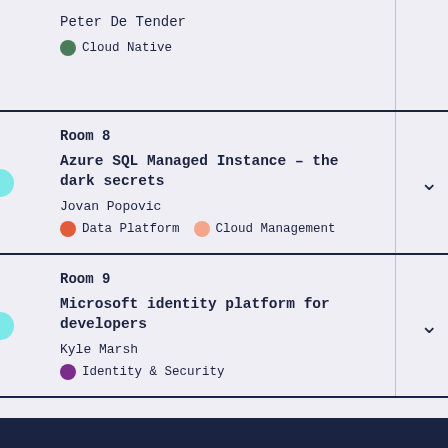Peter De Tender
Cloud Native
Room 8
Azure SQL Managed Instance – the dark secrets
Jovan Popovic
Data Platform  Cloud Management
Room 9
Microsoft identity platform for developers
Kyle Marsh
Identity & Security